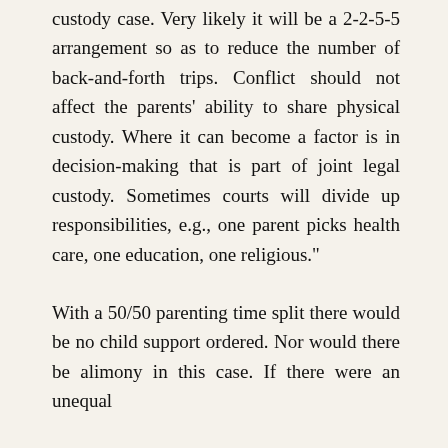custody case. Very likely it will be a 2-2-5-5 arrangement so as to reduce the number of back-and-forth trips. Conflict should not affect the parents' ability to share physical custody. Where it can become a factor is in decision-making that is part of joint legal custody. Sometimes courts will divide up responsibilities, e.g., one parent picks health care, one education, one religious."
With a 50/50 parenting time split there would be no child support ordered. Nor would there be alimony in this case. If there were an unequal